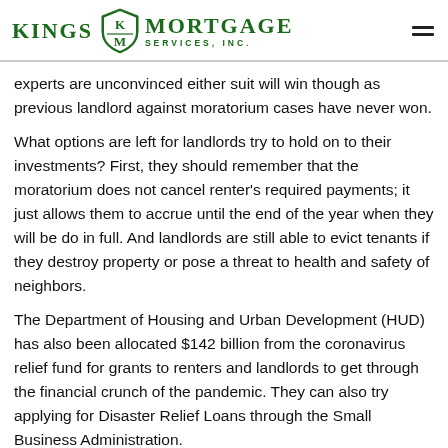Kings Mortgage Services, Inc.
experts are unconvinced either suit will win though as previous landlord against moratorium cases have never won.
What options are left for landlords try to hold on to their investments? First, they should remember that the moratorium does not cancel renter's required payments; it just allows them to accrue until the end of the year when they will be do in full. And landlords are still able to evict tenants if they destroy property or pose a threat to health and safety of neighbors.
The Department of Housing and Urban Development (HUD) has also been allocated $142 billion from the coronavirus relief fund for grants to renters and landlords to get through the financial crunch of the pandemic. They can also try applying for Disaster Relief Loans through the Small Business Administration.
Landlords are also encouraged by the government to